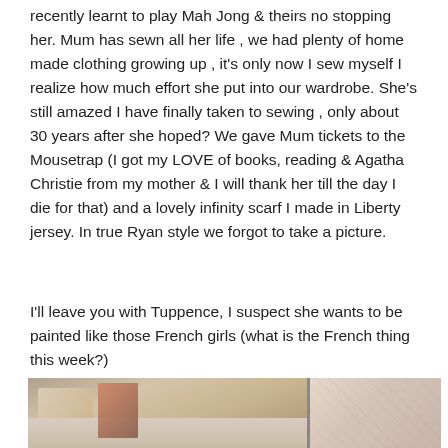recently learnt to play Mah Jong & theirs no stopping her. Mum has sewn all her life , we had plenty of home made clothing growing up , it's only now I sew myself I realize how much effort she put into our wardrobe. She's still amazed I have finally taken to sewing , only about 30 years after she hoped? We gave Mum tickets to the Mousetrap (I got my LOVE of books, reading & Agatha Christie from my mother & I will thank her till the day I die for that) and a lovely infinity scarf I made in Liberty jersey. In true Ryan style we forgot to take a picture.
I'll leave you with Tuppence, I suspect she wants to be painted like those French girls (what is the French thing this week?)
[Figure (photo): A photograph showing a cat resting on what appears to be a floral patterned bedding or cushion, with books visible in the background on the left side and a curtain with a subtle pattern on the right side.]